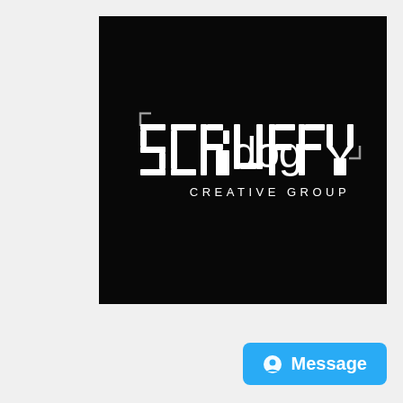[Figure (logo): Scruffy Dog Creative Group logo on black square background. 'SCRUFFY' in bold white block/grunge font, 'dog' in white rounded lowercase font, 'CREATIVE GROUP' in white spaced caps below. Corner bracket marks visible around the logo area.]
Message